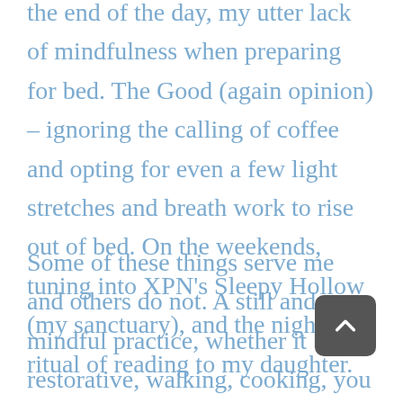the end of the day, my utter lack of mindfulness when preparing for bed.  The Good (again opinion) – ignoring the calling of coffee and opting for even a few light stretches and breath work to rise out of bed.  On the weekends, tuning into XPN's Sleepy Hollow (my sanctuary), and the nightly ritual of reading to my daughter.
Some of these things serve me and others do not.  A still and mindful practice, whether it be restorative, walking, cooking, you pick the activity or non-activity, may bring to light those healthy and